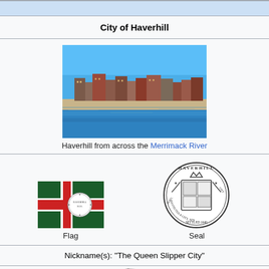City of Haverhill
City of Haverhill
[Figure (photo): Haverhill city skyline viewed from across the Merrimack River, showing waterfront buildings under a clear blue sky]
Haverhill from across the Merrimack River
[Figure (illustration): Flag and Seal of Haverhill. Flag: dark green with white St George cross and city seal in center. Seal: circular black-and-white seal reading HAVERHILL with coat of arms, SETTLED 1640, INSTITUTED A CITY 1870.]
Nickname(s): "The Queen Slipper City"
[Figure (map): Map of Essex County Massachusetts highlighting Haverhill in red]